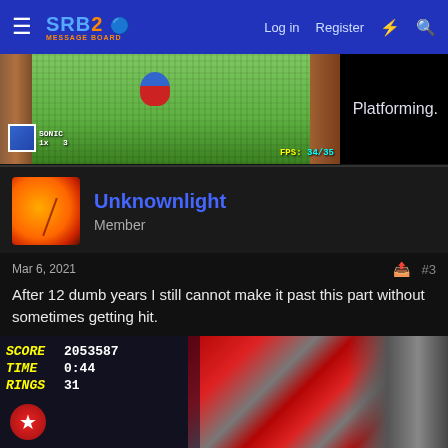SRB2 Message Board — Log in  Register
[Figure (screenshot): SRB2 game screenshot showing green grassy level with Sonic character, HUD showing SONIC with 1x and 3 rings, FPS: 34/35]
Platforming.
Unknownlight
Member
Mar 6, 2021
#3
After 12 dumb years I still cannot make it past this part without sometimes getting hit.
[Figure (screenshot): SRB2 game screenshot showing score screen with SCORE 2053587, TIME 0:44, RINGS 31, with red and grey level geometry in background]